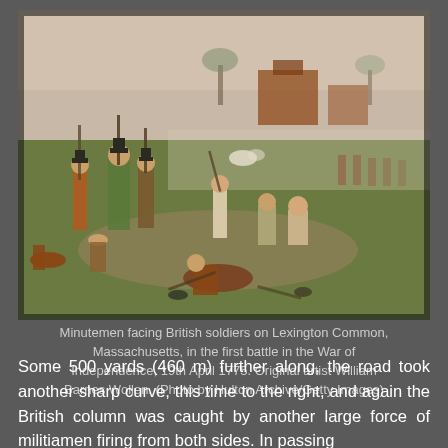[Figure (illustration): Historical painting of Minutemen facing British soldiers on Lexington Common, Massachusetts, showing armed conflict on a grassy field with buildings in the background. Painted by William Barnes Wollen.]
Minutemen facing British soldiers on Lexington Common, Massachusetts, in the first battle in the War of Independence, 19th April 1775. Original artist William Barnes Wollen. (Photo by Hulton Archive/Getty Images)
Some 500 yards (460 m) further along, the road took another sharp curve, this time to the right, and again the British column was caught by another large force of militiamen firing from both sides. In passing